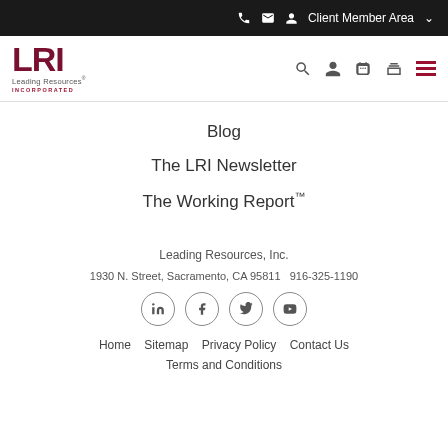Client Member Area
[Figure (logo): LRI Leading Resources Incorporated logo]
Blog
The LRI Newsletter
The Working Report™
Leading Resources, Inc.
1930 N. Street, Sacramento, CA 95811   916-325-1190
Home  Sitemap  Privacy Policy  Contact Us
Terms and Conditions